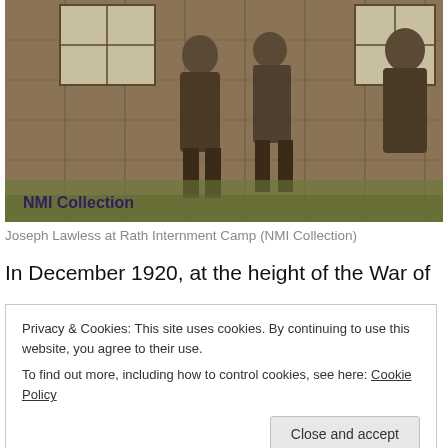[Figure (photo): Sepia-toned historical photograph of men standing outside a wooden building, with 'NMI Collection' text overlaid in the lower left corner.]
Joseph Lawless at Rath Internment Camp (NMI Collection)
In December 1920, at the height of the War of
Privacy & Cookies: This site uses cookies. By continuing to use this website, you agree to their use.
To find out more, including how to control cookies, see here: Cookie Policy
[Close and accept]